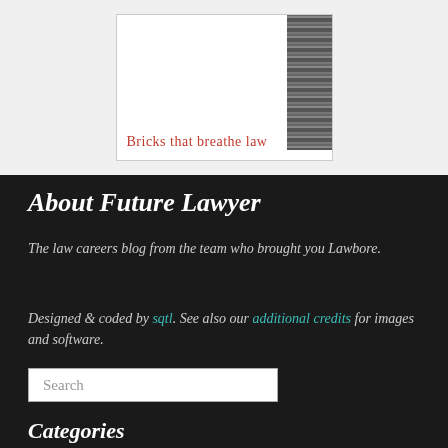[Figure (illustration): Banner image showing a white box with the text 'Bricks that breathe law' in red, with a brick-pattern image on the right side, set against a light grey background.]
About Future Lawyer
The law careers blog from the team who brought you Lawbore.
Designed & coded by sqtl. See also our additional credits for images and software.
Search
Categories
Alumni Interviews · Barristers · Events ·